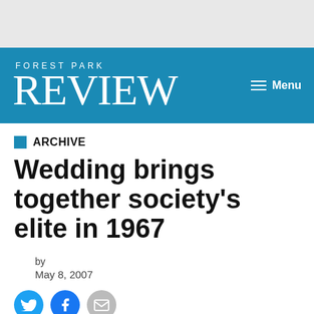FOREST PARK REVIEW
ARCHIVE
Wedding brings together society's elite in 1967
by
May 8, 2007